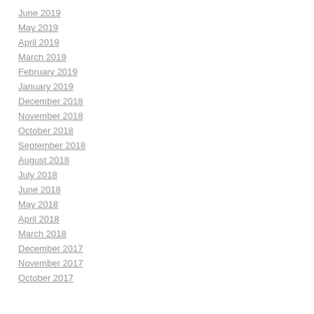June 2019
May 2019
April 2019
March 2019
February 2019
January 2019
December 2018
November 2018
October 2018
September 2018
August 2018
July 2018
June 2018
May 2018
April 2018
March 2018
December 2017
November 2017
October 2017